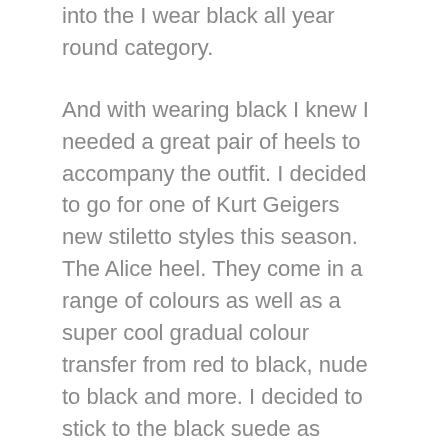into the I wear black all year round category.
And with wearing black I knew I needed a great pair of heels to accompany the outfit. I decided to go for one of Kurt Geigers new stiletto styles this season. The Alice heel. They come in a range of colours as well as a super cool gradual colour transfer from red to black, nude to black and more. I decided to stick to the black suede as there's something about suede in the summer that is to die for. Also lets not forgetting it's the most comfortable of all leather.
The quality of shoes from Kurt Geiger are on parr with designer labels although they do not have the same premium price. In terms of size, I had to go one size larger as my normal size was a struggle to